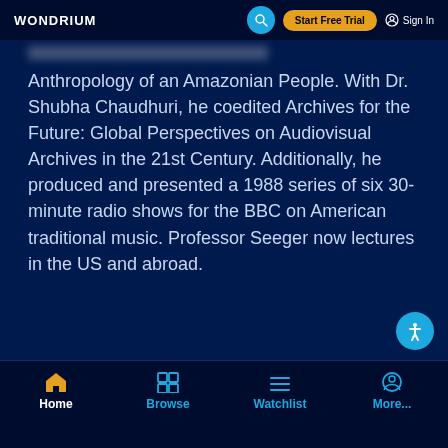WONDRIUM | Start Free Trial | Sign In
Anthropology of an Amazonian People. With Dr. Shubha Chaudhuri, he coedited Archives for the Future: Global Perspectives on Audiovisual Archives in the 21st Century. Additionally, he produced and presented a 1988 series of six 30-minute radio shows for the BBC on American traditional music. Professor Seeger now lectures in the US and abroad.
Home | Browse | Watchlist | More...